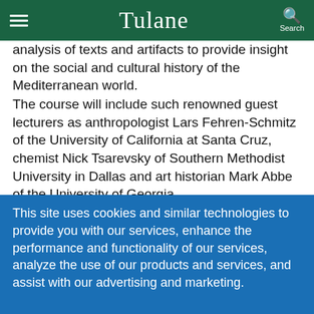Tulane
analysis of texts and artifacts to provide insight on the social and cultural history of the Mediterranean world.
The course will include such renowned guest lecturers as anthropologist Lars Fehren-Schmitz of the University of California at Santa Cruz, chemist Nick Tsarevsky of Southern Methodist University in Dallas and art historian Mark Abbe of the University of Georgia.
Grayson said the course had been discussed for a
This site uses cookies and similar technologies to provide you with our services, enhance the performance and functionality of our services, analyze the use of our products and services, and assist with our advertising and marketing.